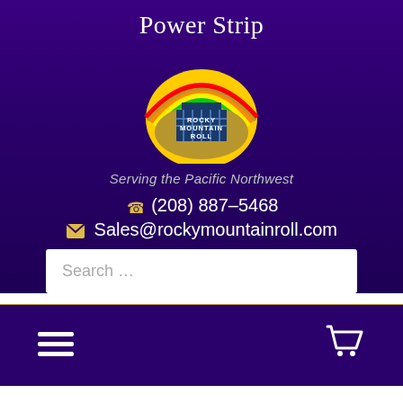Power Strip
[Figure (logo): Rocky Mountain Roll logo — rainbow arch over a building, text ROCKY MOUNTAIN ROLL]
Serving the Pacific Northwest
☎ (208) 887-5468
✉ Sales@rockymountainroll.com
Search …
[Figure (other): Hamburger menu icon (three horizontal lines)]
[Figure (other): Shopping cart icon]
Home » Inventory » Cables, Snakes & Adaptors » Power Strip